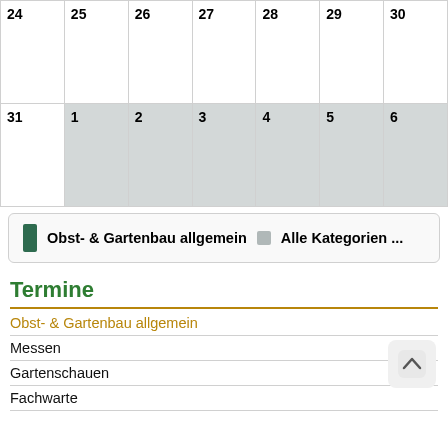| 24 | 25 | 26 | 27 | 28 | 29 | 30 |
| --- | --- | --- | --- | --- | --- | --- |
|  |  |  |  |  |  |  |
| 31 | 1 | 2 | 3 | 4 | 5 | 6 |
Obst- & Gartenbau allgemein  Alle Kategorien ...
Termine
Obst- & Gartenbau allgemein
Messen
Gartenschauen
Fachwarte